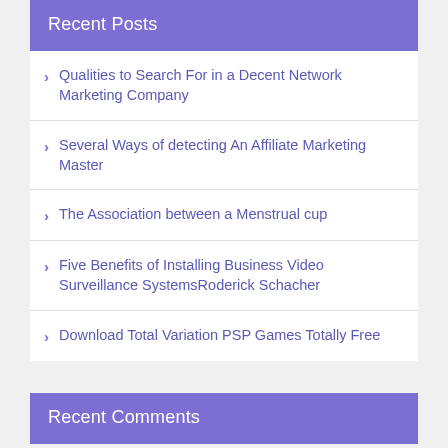Recent Posts
Qualities to Search For in a Decent Network Marketing Company
Several Ways of detecting An Affiliate Marketing Master
The Association between a Menstrual cup
Five Benefits of Installing Business Video Surveillance SystemsRoderick Schacher
Download Total Variation PSP Games Totally Free
Recent Comments